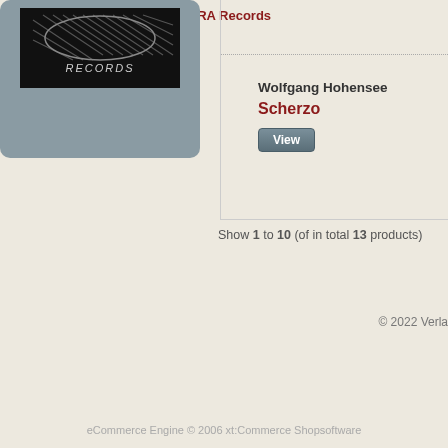[Figure (logo): MARA Records logo - black background with stylized record/band imagery and RECORDS text]
MARA Records
Wolfgang Hohensee
Scherzo
View
Show 1 to 10 (of in total 13 products)
© 2022 Verla
eCommerce Engine © 2006 xt:Commerce Shopsoftware